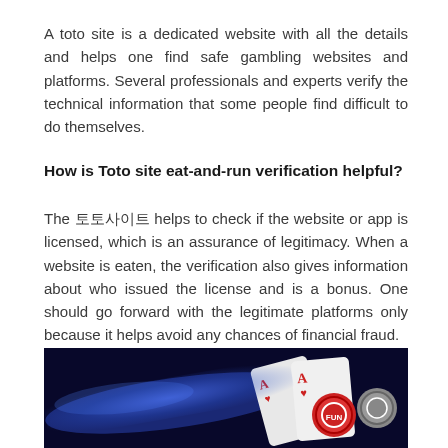A toto site is a dedicated website with all the details and helps one find safe gambling websites and platforms. Several professionals and experts verify the technical information that some people find difficult to do themselves.
How is Toto site eat-and-run verification helpful?
The 먹튀폴리스 helps to check if the website or app is licensed, which is an assurance of legitimacy. When a website is eaten, the verification also gives information about who issued the license and is a bonus. One should go forward with the legitimate platforms only because it helps avoid any chances of financial fraud.
[Figure (photo): Photo showing playing cards (Ace of hearts) and casino chips on a dark blue background with light streaks]